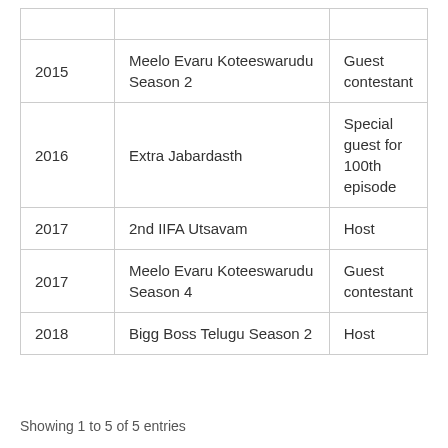| 2015 | Meelo Evaru Koteeswarudu Season 2 | Guest contestant |
| 2016 | Extra Jabardasth | Special guest for 100th episode |
| 2017 | 2nd IIFA Utsavam | Host |
| 2017 | Meelo Evaru Koteeswarudu Season 4 | Guest contestant |
| 2018 | Bigg Boss Telugu Season 2 | Host |
Showing 1 to 5 of 5 entries